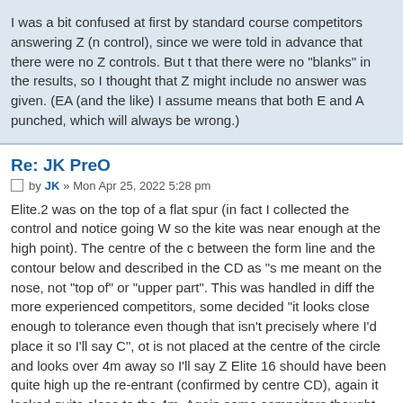I was a bit confused at first by standard course competitors answering Z (n control), since we were told in advance that there were no Z controls. But t that there were no "blanks" in the results, so I thought that Z might include no answer was given. (EA (and the like) I assume means that both E and A punched, which will always be wrong.)
Re: JK PreO
by JK » Mon Apr 25, 2022 5:28 pm
Elite.2 was on the top of a flat spur (in fact I collected the control and notice going W so the kite was near enough at the high point). The centre of the c between the form line and the contour below and described in the CD as "s me meant on the nose, not "top of" or "upper part". This was handled in diff the more experienced competitors, some decided "it looks close enough to tolerance even though that isn't precisely where I'd place it so I'll say C", ot is not placed at the centre of the circle and looks over 4m away so I'll say Z Elite 16 should have been quite high up the re-entrant (confirmed by centre CD), again it looked quite close to the 4m. Again some compeitors thought enough and others not.
The Standard class didn't (shouldn't) have had the same quandary since th that Zs were only possible on the "A" controls, not A-C, A-E, etc.
When I finished, and before speaking to any other competitors or looking…